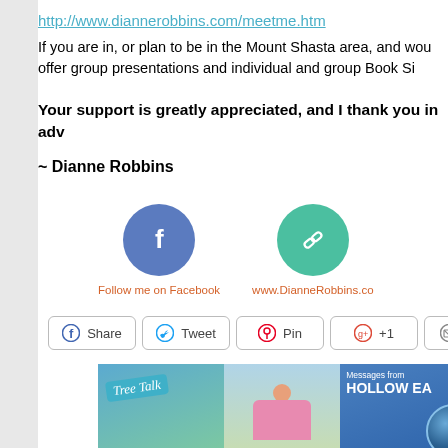http://www.diannerobbins.com/meetme.htm
If you are in, or plan to be in the Mount Shasta area, and wou offer group presentations and individual and group Book Si
Your support is greatly appreciated, and I thank you in adv
~ Dianne Robbins
[Figure (infographic): Facebook circle icon (blue) and link/chain circle icon (green), with labels: Follow me on Facebook and www.DianneRobbins.co]
[Figure (infographic): Social share buttons: Share (Facebook), Tweet (Twitter), Pin (Pinterest), +1 (Google+), and a partial email/share button]
[Figure (photo): Row of book cover images including Tree Talk and Messages from Hollow Earth, with a person in a pink shirt in the center]